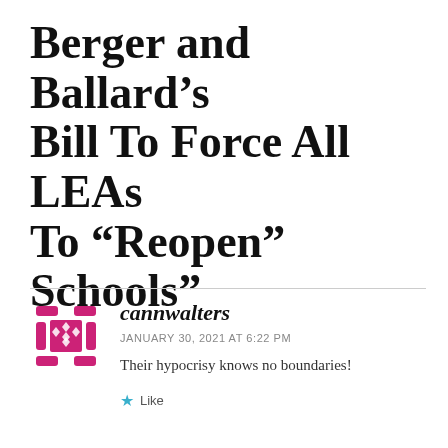Berger and Ballard’s Bill To Force All LEAs To “Reopen” Schools"
[Figure (logo): Magenta/pink geometric puzzle-piece style avatar icon for user cannwalters]
cannwalters
JANUARY 30, 2021 AT 6:22 PM
Their hypocrisy knows no boundaries!
Like